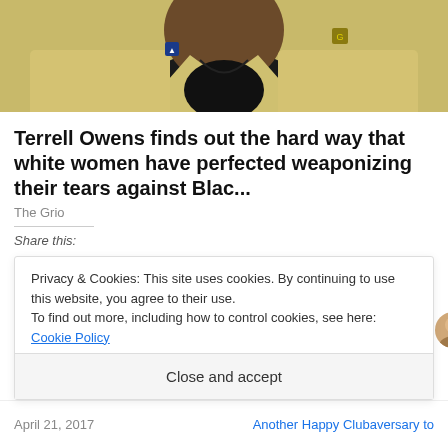[Figure (photo): A person in a tan/yellow blazer, partial face visible at top of image]
Terrell Owens finds out the hard way that white women have perfected weaponizing their tears against Blac...
The Grio
Share this:
[Figure (infographic): Social share buttons: email, LinkedIn, Twitter, Pinterest (3), Facebook, More]
[Figure (infographic): Like button with star icon, followed by 11 blogger avatar photos]
28 bloggers like this.
Privacy & Cookies: This site uses cookies. By continuing to use this website, you agree to their use.
To find out more, including how to control cookies, see here: Cookie Policy
Close and accept
April 21, 2017
Another Happy Clubaversary to